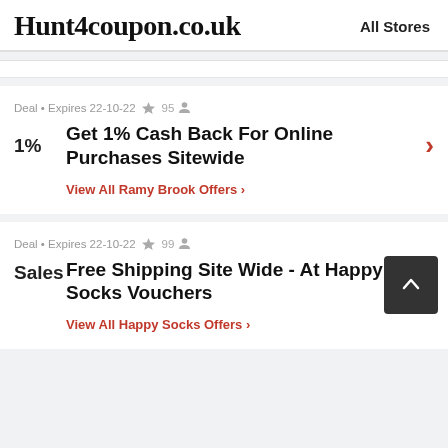Hunt4coupon.co.uk   All Stores
Deal • Expires 22-10-22 🔔 95 👤
Get 1% Cash Back For Online Purchases Sitewide
View All Ramy Brook Offers >
Deal • Expires 22-10-22 🔔 99 👤
Free Shipping Site Wide - At Happy Socks Vouchers
View All Happy Socks Offers >